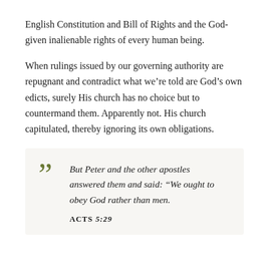English Constitution and Bill of Rights and the God-given inalienable rights of every human being.
When rulings issued by our governing authority are repugnant and contradict what we’re told are God’s own edicts, surely His church has no choice but to countermand them. Apparently not. His church capitulated, thereby ignoring its own obligations.
But Peter and the other apostles answered them and said: “We ought to obey God rather than men.
ACTS 5:29